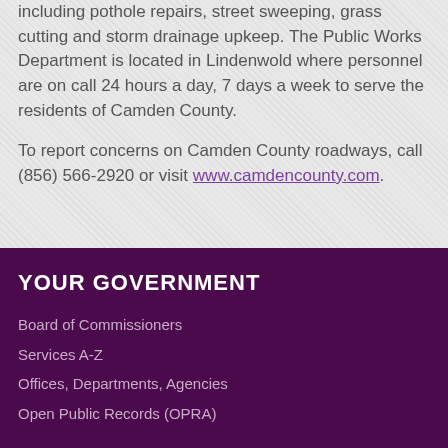including pothole repairs, street sweeping, grass cutting and storm drainage upkeep. The Public Works Department is located in Lindenwold where personnel are on call 24 hours a day, 7 days a week to serve the residents of Camden County.
To report concerns on Camden County roadways, call (856) 566-2920 or visit www.camdencounty.com.
YOUR GOVERNMENT
Board of Commissioners
Services A-Z
Offices, Departments, Agencies
Open Public Records (OPRA)